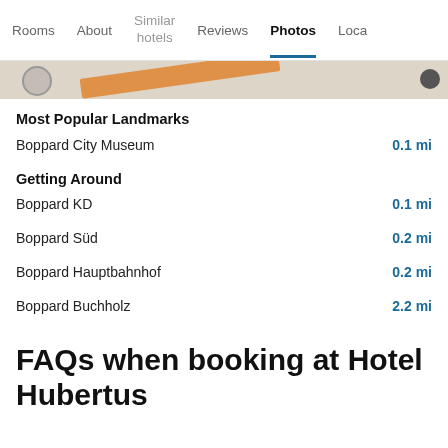Rooms | About | Similar hotels | Reviews | Photos | Loca...
[Figure (map): Partial map strip showing street layout with orange diagonal road and location markers]
Most Popular Landmarks
Boppard City Museum  0.1 mi
Getting Around
Boppard KD  0.1 mi
Boppard Süd  0.2 mi
Boppard Hauptbahnhof  0.2 mi
Boppard Buchholz  2.2 mi
FAQs when booking at Hotel Hubertus